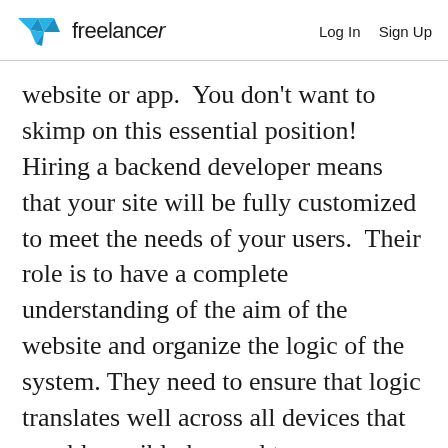freelancer  Log In  Sign Up
website or app.  You don't want to skimp on this essential position! Hiring a backend developer means that your site will be fully customized to meet the needs of your users.  Their role is to have a complete understanding of the aim of the website and organize the logic of the system. They need to ensure that logic translates well across all devices that would possibly be used to access your content.  They are responsible for creating the method of accepting data,